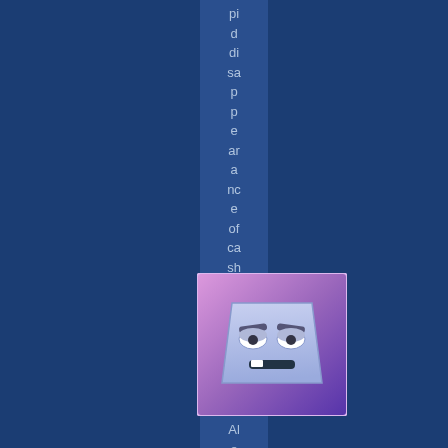pid disappearance of cash.
[Figure (illustration): Cartoon avatar of a purple/blue geometric face character with glasses, smiling, on a purple gradient background]
Alex Vander